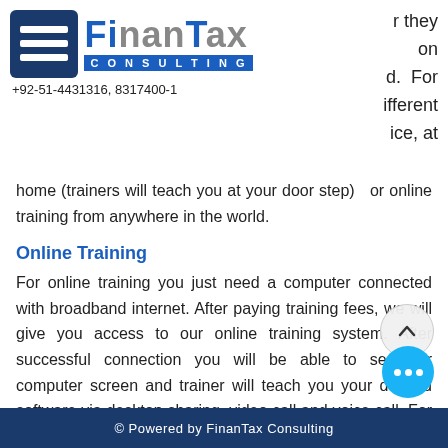[Figure (logo): FinanTax Consulting logo with hamburger menu icon, company name, consulting banner, and phone number +92-51-4431316, 8317400-1]
r they on d. For ifferent ice, at
home (trainers will teach you at your door step) or online training from anywhere in the world.
Online Training
For online training you just need a computer connected with broadband internet. After paying training fees, we will give you access to our online training system. After successful connection you will be able to see our computer screen and trainer will teach you your desired software via desktop sharing, video call and voice call. For more details regarding online training please feel free to contact us.
© Powered by FinanTax Consulting